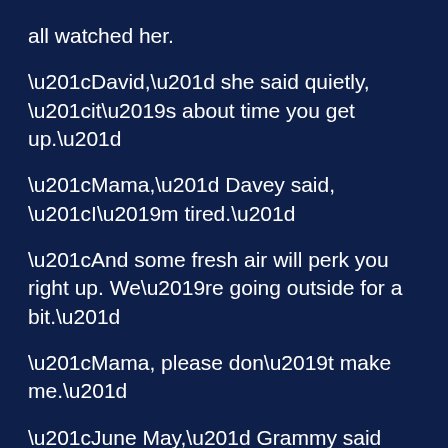all watched her.
“David,” she said quietly, “it’s about time you get up.”
“Mama,” Davey said, “I’m tired.”
“And some fresh air will perk you right up. We’re going outside for a bit.”
“Mama, please don’t make me.”
“June May,” Grammy said softly, “I want you to take Billy and wait out in the hallway. Rachel, you’ll help me get David dressed and ready.”
“Okay, Mama.”